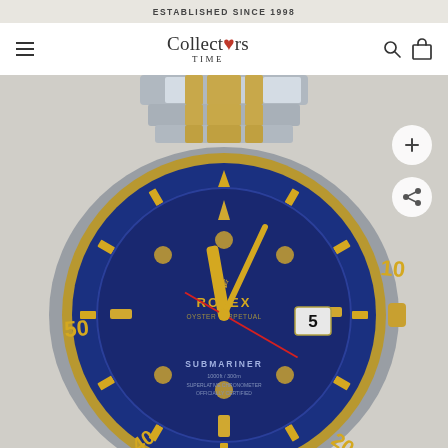ESTABLISHED SINCE 1998
[Figure (logo): Collectors Time logo with stylized heart in the letter o]
[Figure (photo): Rolex Submariner two-tone steel and yellow gold watch with blue ceramic bezel and blue dial, showing date at 3 o'clock position. Watch displays SUBMARINER text and partial date showing number 5. Gold and steel Oyster bracelet visible at top.]